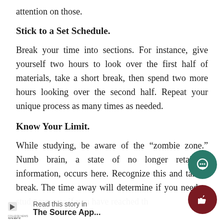attention on those.
Stick to a Set Schedule.
Break your time into sections. For instance, give yourself two hours to look over the first half of materials, take a short break, then spend two more hours looking over the second half. Repeat your unique process as many times as needed.
Know Your Limit.
While studying, be aware of the “zombie zone.” Numb brain, a state of no longer retaining information, occurs here. Recognize this and take a break. The time away will determine if you need to study more or if you have reached the peak of...